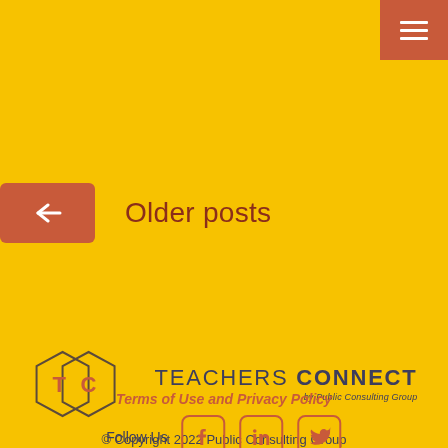[Figure (other): Hamburger menu button (three white horizontal lines) on coral/red-orange background in top-right corner]
← Older posts
[Figure (logo): Teachers Connect logo: two overlapping diamond shapes with T and C initials, followed by text TEACHERS CONNECT by Public Consulting Group]
© Copyright 2022 Public Consulting Group
148 State Street 10th Floor Boston, Massachusetts 02109-2589
Terms of Use and Privacy Policy
Follow Us